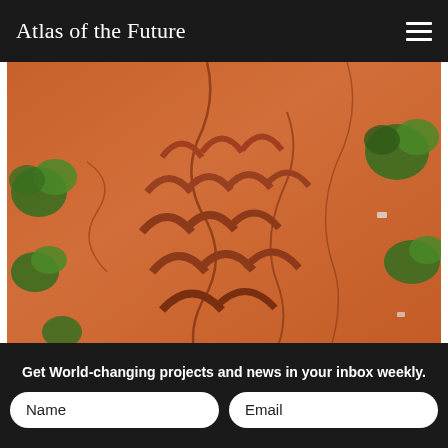Atlas of the Future
[Figure (photo): Aerial drone photograph of bunds (semicircular earthen structures) arranged in a pattern on red/orange cracked soil, with green shrubs scattered around. Photo taken from above showing the geometric pattern of the bunds.]
Bunds photographed by a drone. Photo: Justdiggit
A growing global movement to cool down the planet through landscape
Get World-changing projects and news in your inbox weekly.
Name
Email